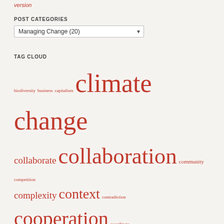version
POST CATEGORIES
Managing Change  (20)
TAG CLOUD
biodiversity business capitalism climate change collaborate collaboration community competition complexity context contradiction cooperation coordinate coordination creativity design economy Environment financial financial turmoil fun global Growth growth model guide innovation Internet learning Life local Los Angeles manage resources Markets Mobile Networks